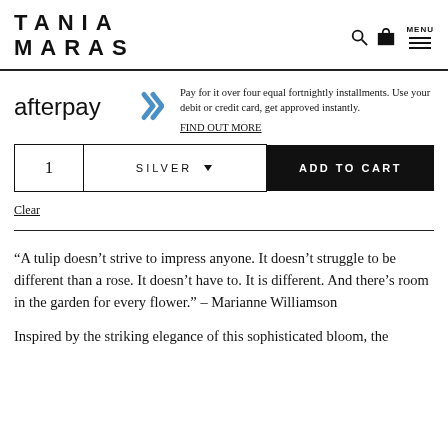TANIA MARAS
[Figure (logo): Afterpay logo with blue chevron arrows]
Pay for it over four equal fortnightly installments. Use your debit or credit card, get approved instantly. FIND OUT MORE
1  SILVER  ADD TO CART
Clear
“A tulip doesn’t strive to impress anyone. It doesn’t struggle to be different than a rose. It doesn’t have to. It is different. And there’s room in the garden for every flower.” – Marianne Williamson
Inspired by the striking elegance of this sophisticated bloom, the